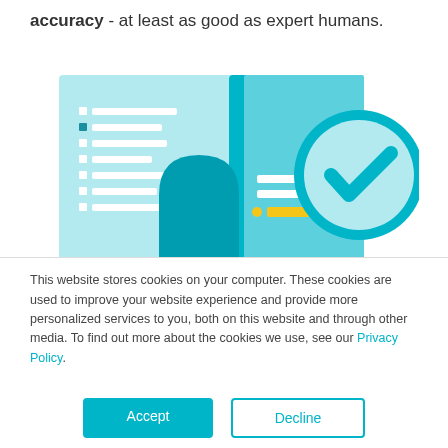accuracy - at least as good as expert humans.
[Figure (illustration): A flat illustration showing a document checklist with teal and light blue panels, a teal arch/door shape, white horizontal bars as list items, a small blue square bullet, a yellow highlighted bar, and a teal checkmark inside a light blue circle on the right side.]
This website stores cookies on your computer. These cookies are used to improve your website experience and provide more personalized services to you, both on this website and through other media. To find out more about the cookies we use, see our Privacy Policy.
Accept
Decline